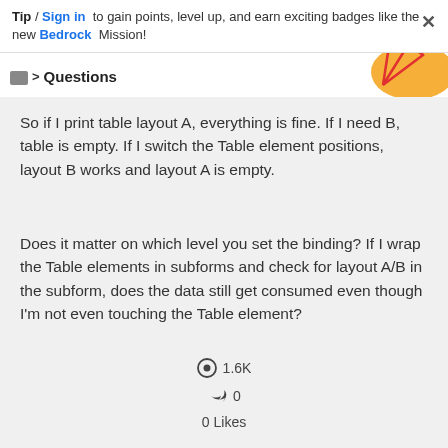Tip / Sign in to gain points, level up, and earn exciting badges like the new Bedrock Mission!
Questions
[Figure (illustration): Decorative geometric red line art with orange shape, top-right corner]
So if I print table layout A, everything is fine. If I need B, table is empty. If I switch the Table element positions, layout B works and layout A is empty.
Does it matter on which level you set the binding? If I wrap the Table elements in subforms and check for layout A/B in the subform, does the data still get consumed even though I'm not even touching the Table element?
👁 1.6K
↩ 0
0 Likes